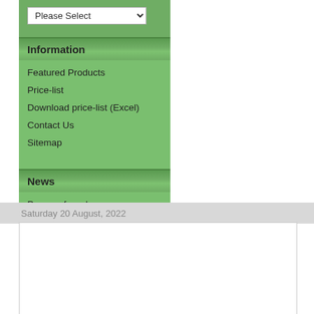Please Select
Information
Featured Products
Price-list
Download price-list (Excel)
Contact Us
Sitemap
News
Prepare for release
Saturday 20 August, 2022